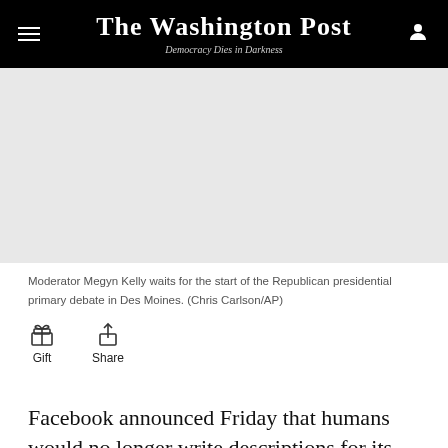The Washington Post — Democracy Dies in Darkness
[Figure (photo): Gray placeholder image area for a photo of Moderator Megyn Kelly]
Moderator Megyn Kelly waits for the start of the Republican presidential primary debate in Des Moines. (Chris Carlson/AP)
Gift   Share
Facebook announced Friday that humans would no longer write descriptions for its Trending topics list,